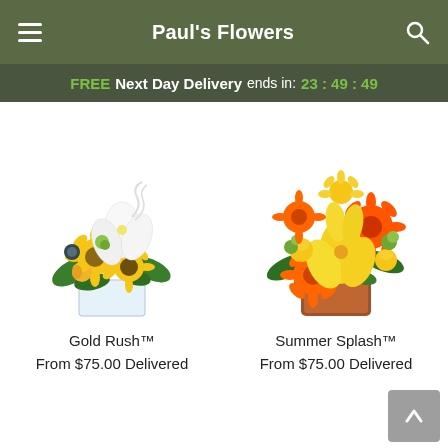Paul's Flowers
FREE Next Day Delivery ends in: 23 : 49 : 49
[Figure (photo): Gold Rush bouquet - yellow sunflowers, white lilies, roses in a glass cube vase]
[Figure (photo): Summer Splash bouquet - orange gerberas, yellow lilies, roses in a terracotta/brown cube vase]
Gold Rush™
From $75.00 Delivered
Summer Splash™
From $75.00 Delivered